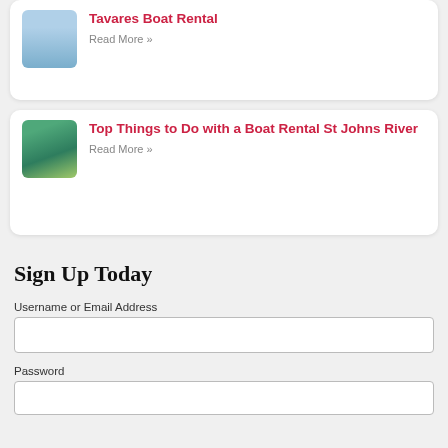Tavares Boat Rental
Read More »
Top Things to Do with a Boat Rental St Johns River
Read More »
Sign Up Today
Username or Email Address
Password